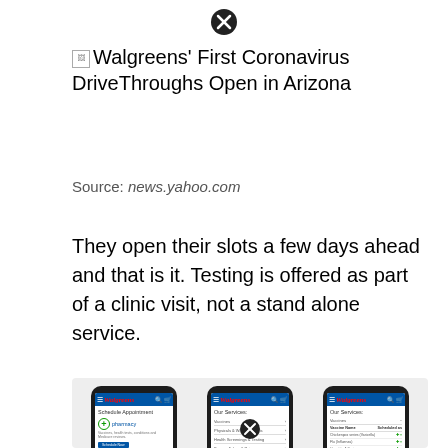[Figure (screenshot): Close button (X) circle at top center of modal/popup]
Walgreens' First Coronavirus DriveThroughs Open in Arizona
Source: news.yahoo.com
They open their slots a few days ahead and that is it. Testing is offered as part of a clinic visit, not a stand alone service.
[Figure (screenshot): Three smartphone screenshots showing Walgreens mobile app screens: Schedule Appointment with pharmacy and healthcare clinic options, Our Services menu listing Vaccines, Physicals & Wellness Visits, Health Screenings & Testing, Braces Aches & Pains, Minor Injuries, Skin Conditions, Ongoing Health Conditions, Medications & Treatments, Medicare Review, Comprehensive Vaccination Review, and a third screen showing Our Services with Vaccines expanded and a table of Vaccine Name and Scheduled info with various vaccine types listed.]